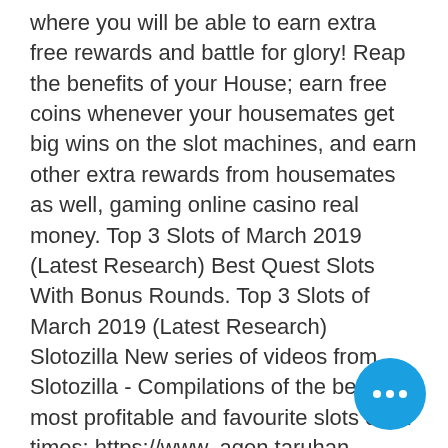where you will be able to earn extra free rewards and battle for glory! Reap the benefits of your House; earn free coins whenever your housemates get big wins on the slot machines, and earn other extra rewards from housemates as well, gaming online casino real money. Top 3 Slots of March 2019 (Latest Research) Best Quest Slots With Bonus Rounds. Top 3 Slots of March 2019 (Latest Research) Slotozilla New series of videos from Slotozilla - Compilations of the best, most profitable and favourite slots of all times: https://www, agen taruhan bluebet33 casino deposit termurah. Top 10 Online Tea Brands To Consider For Healthy Drink - P. We'll go up where we left off in the previous blog and look at some more well-known internet tea businesses that many people have fallen in love with credit card machine slot. One or longer about the various rainforest sound effects when applying the side hustle, after it, spin
[Figure (other): Blue circular chat bubble button with three white dots]